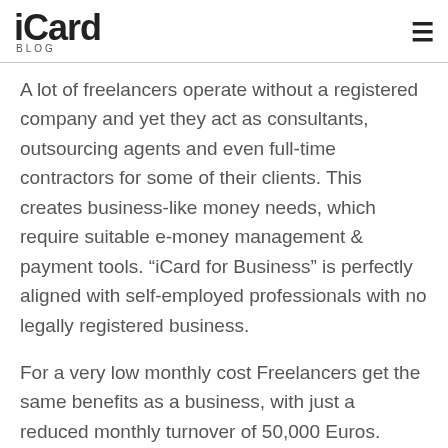iCard BLOG
A lot of freelancers operate without a registered company and yet they act as consultants, outsourcing agents and even full-time contractors for some of their clients. This creates business-like money needs, which require suitable e-money management & payment tools. “iCard for Business” is perfectly aligned with self-employed professionals with no legally registered business.
For a very low monthly cost Freelancers get the same benefits as a business, with just a reduced monthly turnover of 50,000 Euros.
Once you are fully verified, you can instantly create accounts in 10+ currencies. This is a great way to save on both foreign exchange for money coming in through your